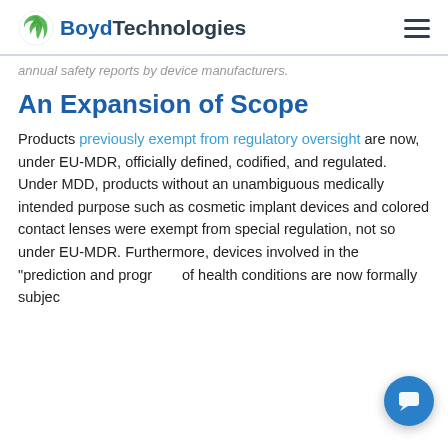Boyd Technologies
annual safety reports by device manufacturers.
An Expansion of Scope
Products previously exempt from regulatory oversight are now, under EU-MDR, officially defined, codified, and regulated. Under MDD, products without an unambiguous medically intended purpose such as cosmetic implant devices and colored contact lenses were exempt from special regulation, not so under EU-MDR. Furthermore, devices involved in the "prediction and prognosis" of health conditions are now formally subject to regulatory oversight.